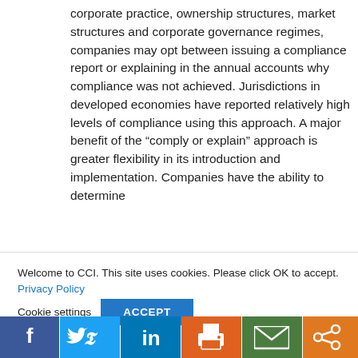corporate practice, ownership structures, market structures and corporate governance regimes, companies may opt between issuing a compliance report or explaining in the annual accounts why compliance was not achieved. Jurisdictions in developed economies have reported relatively high levels of compliance using this approach. A major benefit of the “comply or explain” approach is greater flexibility in its introduction and implementation. Companies have the ability to determine
Welcome to CCI. This site uses cookies. Please click OK to accept. Privacy Policy
Cookie settings  ACCEPT
[Figure (infographic): Social media sharing bar with Facebook, Twitter, LinkedIn, Print, Email, and Share buttons]